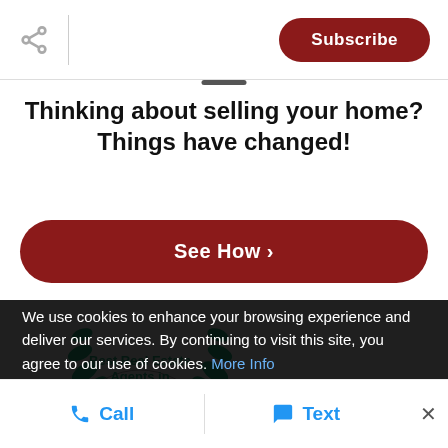Subscribe
Thinking about selling your home? Things have changed!
See How >
[Figure (logo): Best Real Estate Agents in Madison 2019 badge with laurel wreath in teal/green]
We use cookies to enhance your browsing experience and deliver our services. By continuing to visit this site, you agree to our use of cookies. More Info
Call   Text